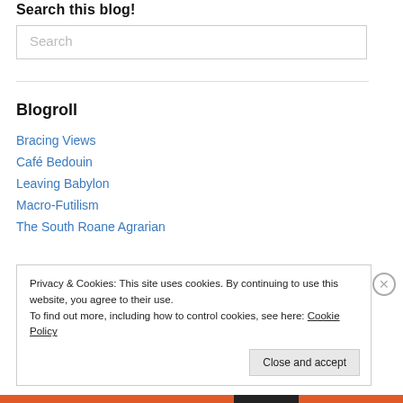Search this blog!
Search
Blogroll
Bracing Views
Café Bedouin
Leaving Babylon
Macro-Futilism
The South Roane Agrarian
Privacy & Cookies: This site uses cookies. By continuing to use this website, you agree to their use.
To find out more, including how to control cookies, see here: Cookie Policy
Close and accept